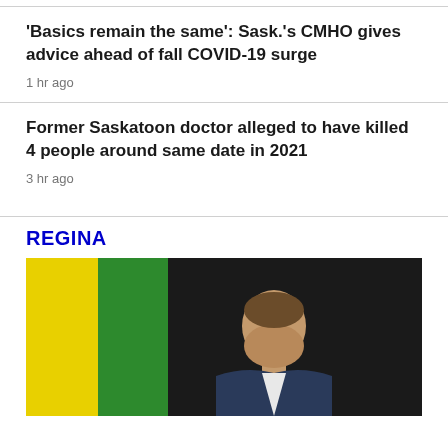'Basics remain the same': Sask.'s CMHO gives advice ahead of fall COVID-19 surge
1 hr ago
Former Saskatoon doctor alleged to have killed 4 people around same date in 2021
3 hr ago
REGINA
[Figure (photo): A man in a suit speaking, with yellow and green flags in the background against a dark curtain backdrop.]